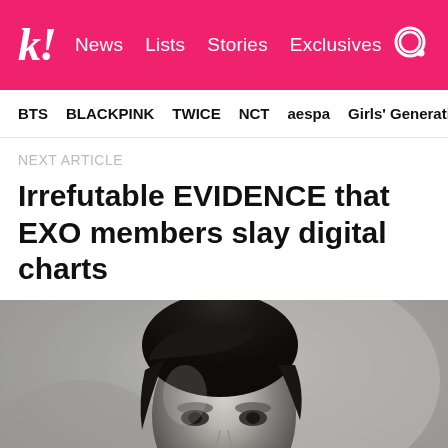k! News Lists Stories Exclusives
BTS  BLACKPINK  TWICE  NCT  aespa  Girls' Generation
NEXT ARTICLE
Irrefutable EVIDENCE that EXO members slay digital charts
[Figure (photo): Black and white portrait photo of an EXO member, close-up face shot with blurred background]